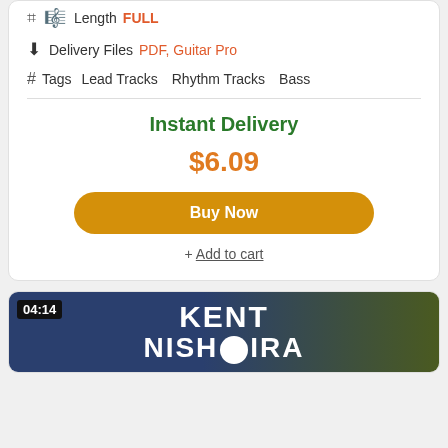Length FULL
Delivery Files PDF, Guitar Pro
Tags  Lead Tracks  Rhythm Tracks  Bass
Instant Delivery
$6.09
Buy Now
+ Add to cart
[Figure (screenshot): Video thumbnail showing Kent Nishiura with timestamp 04:14, dark blue and olive green background]